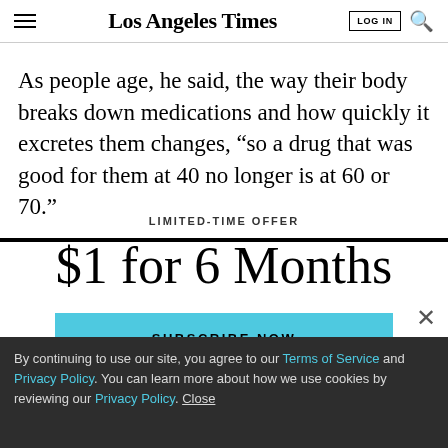Los Angeles Times
As people age, he said, the way their body breaks down medications and how quickly it excretes them changes, “so a drug that was good for them at 40 no longer is at 60 or 70.”
LIMITED-TIME OFFER
$1 for 6 Months
SUBSCRIBE NOW
By continuing to use our site, you agree to our Terms of Service and Privacy Policy. You can learn more about how we use cookies by reviewing our Privacy Policy. Close